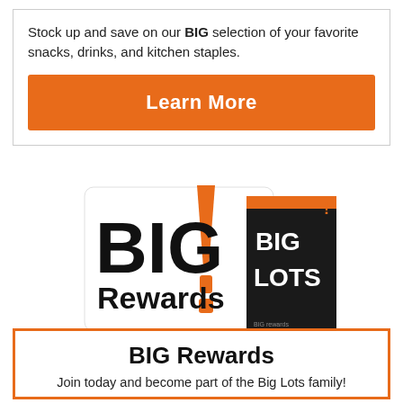Stock up and save on our BIG selection of your favorite snacks, drinks, and kitchen staples.
Learn More
[Figure (logo): Big Rewards loyalty card logo with BIG written in large black letters, orange exclamation mark graphic, Rewards text below, and a dark Big Lots rewards card shown beside it]
BIG Rewards
Join today and become part of the Big Lots family!